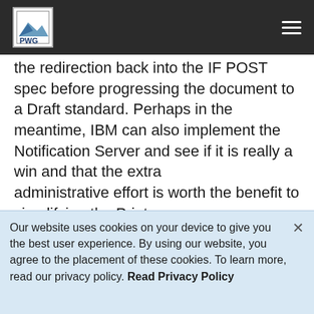PWG [logo] navigation bar
the redirection back into the IF POST spec before progressing the document to a Draft standard. Perhaps in the meantime, IBM can also implement the Notification Server and see if it is really a win and that the extra administrative effort is worth the benefit to simplifying the Printer implementation.
Comments?
Tom
Our website uses cookies on your device to give you the best user experience. By using our website, you agree to the placement of these cookies. To learn more, read our privacy policy. Read Privacy Policy